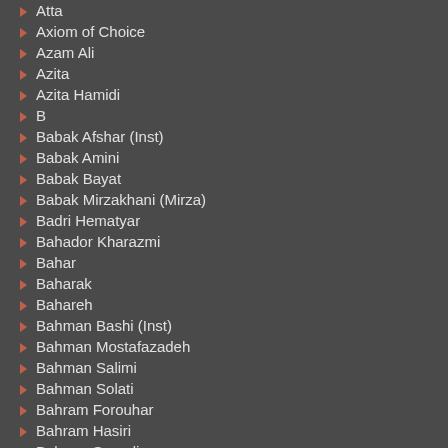Atta
Axiom of Choice
Azam Ali
Azita
Azita Hamidi
B
Babak Afshar (Inst)
Babak Amini
Babak Bayat
Babak Mirzakhani (Mirza)
Badri Hematyar
Bahador Kharazmi
Bahar
Baharak
Bahareh
Bahman Bashi (Inst)
Bahman Mostafazadeh
Bahman Salimi
Bahman Solati
Bahram Forouhar
Bahram Hasiri
Bahram Saeedi
Bahram Sarang
Bahramji
Banan
Behbood